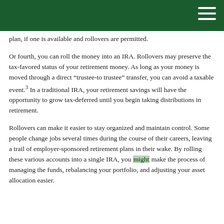plan, if one is available and rollovers are permitted.
Or fourth, you can roll the money into an IRA. Rollovers may preserve the tax-favored status of your retirement money. As long as your money is moved through a direct “trustee-to trustee” transfer, you can avoid a taxable event.3 In a traditional IRA, your retirement savings will have the opportunity to grow tax-deferred until you begin taking distributions in retirement.
Rollovers can make it easier to stay organized and maintain control. Some people change jobs several times during the course of their careers, leaving a trail of employer-sponsored retirement plans in their wake. By rolling these various accounts into a single IRA, you might make the process of managing the funds, rebalancing your portfolio, and adjusting your asset allocation easier.